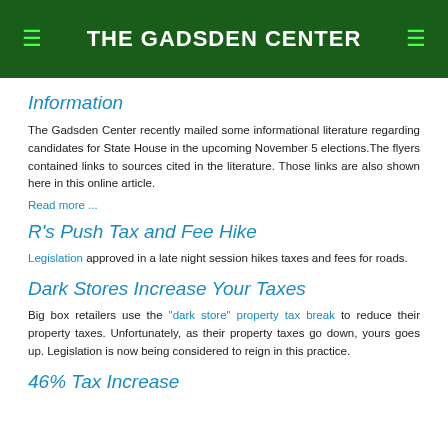THE GADSDEN CENTER
Information
The Gadsden Center recently mailed some informational literature regarding candidates for State House in the upcoming November 5 elections.The flyers contained links to sources cited in the literature. Those links are also shown here in this online article.
Read more ...
R's Push Tax and Fee Hike
Legislation approved in a late night session hikes taxes and fees for roads.
Dark Stores Increase Your Taxes
Big box retailers use the "dark store" property tax break to reduce their property taxes. Unfortunately, as their property taxes go down, yours goes up. Legislation is now being considered to reign in this practice.
46% Tax Increase